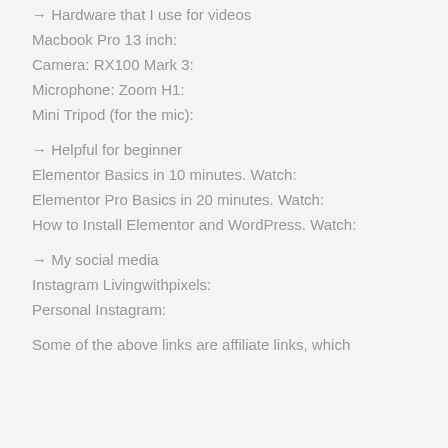→ Hardware that I use for videos
Macbook Pro 13 inch:
Camera: RX100 Mark 3:
Microphone: Zoom H1:
Mini Tripod (for the mic):
→ Helpful for beginner
Elementor Basics in 10 minutes. Watch:
Elementor Pro Basics in 20 minutes. Watch:
How to Install Elementor and WordPress. Watch:
→ My social media
Instagram Livingwithpixels:
Personal Instagram:
Some of the above links are affiliate links, which